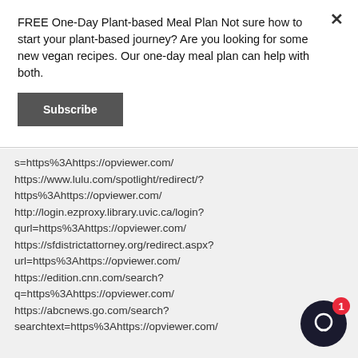FREE One-Day Plant-based Meal Plan Not sure how to start your plant-based journey? Are you looking for some new vegan recipes. Our one-day meal plan can help with both.
Subscribe
s=https%3Ahttps://opviewer.com/ https://www.lulu.com/spotlight/redirect/? https%3Ahttps://opviewer.com/ http://login.ezproxy.library.uvic.ca/login?qurl=https%3Ahttps://opviewer.com/ https://sfdistrictattorney.org/redirect.aspx?url=https%3Ahttps://opviewer.com/ https://edition.cnn.com/search?q=https%3Ahttps://opviewer.com/ https://abcnews.go.com/search?searchtext=https%3Ahttps://opviewer.com/